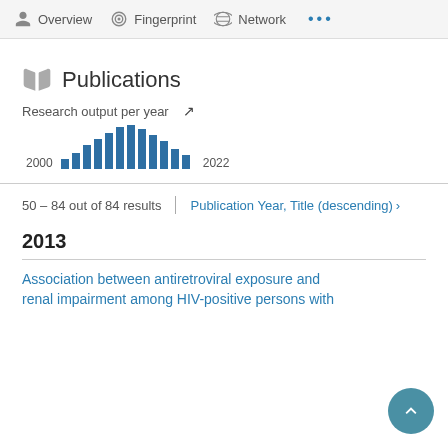Overview  Fingerprint  Network  ...
Publications
[Figure (bar-chart): Research output per year]
50 – 84 out of 84 results
Publication Year, Title (descending)
2013
Association between antiretroviral exposure and renal impairment among HIV-positive persons with